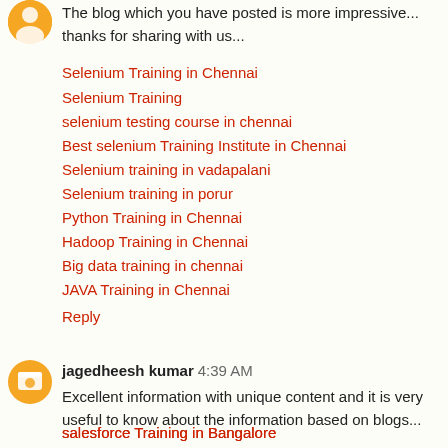The blog which you have posted is more impressive... thanks for sharing with us...
Selenium Training in Chennai
Selenium Training
selenium testing course in chennai
Best selenium Training Institute in Chennai
Selenium training in vadapalani
Selenium training in porur
Python Training in Chennai
Hadoop Training in Chennai
Big data training in chennai
JAVA Training in Chennai
Reply
jagedheesh kumar 4:39 AM
Excellent information with unique content and it is very useful to know about the information based on blogs...
salesforce Training in Bangalore
uipath Training in Bangalore
blueprism Training in Bangalore